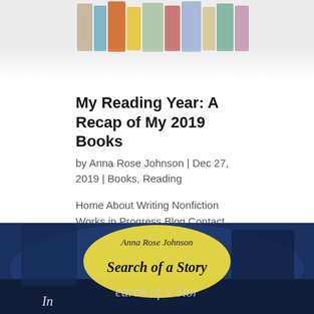[Figure (photo): Top portion of a circular arrangement of colorful book spines, cropped at the bottom, fading to white.]
My Reading Year: A Recap of My 2019 Books
by Anna Rose Johnson | Dec 27, 2019 | Books, Reading
Home About Writing Nonfiction Works in Progress Blog Contact My Reading Year: A Recap of My 2019 Books My 2019 Reading Challenge was so much fun. I delved into more of the vintage middle grade books I adore, a few classics, a handful of newly-published novels, and...
[Figure (photo): Bottom portion of a book cover for 'In Search of a Story' by Anna Rose Johnson, featuring a yellow ellipse on a dark blue painted background with handwritten-style script text.]